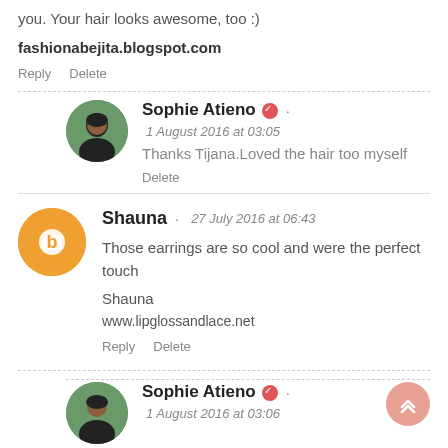you. Your hair looks awesome, too :)
fashionabejita.blogspot.com
Reply    Delete
Sophie Atieno · 1 August 2016 at 03:05
Thanks Tijana.Loved the hair too myself
Delete
Shauna · 27 July 2016 at 06:43
Those earrings are so cool and were the perfect touch

Shauna

www.lipglossandlace.net

Reply    Delete
Sophie Atieno · 1 August 2016 at 03:06